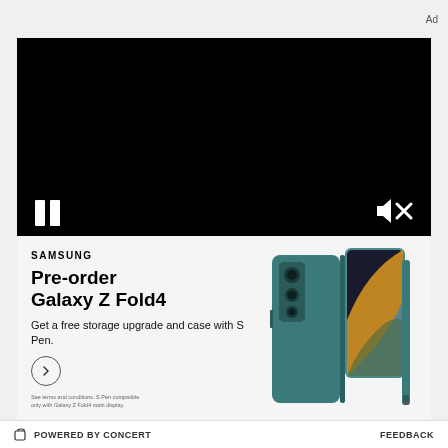Ad
[Figure (screenshot): Black video player area with pause button (two white bars) on bottom left and muted speaker icon on bottom right]
[Figure (illustration): Samsung Galaxy Z Fold4 pre-order advertisement. Shows Samsung branding, 'Pre-order Galaxy Z Fold4' headline, 'Get a free storage upgrade and case with S Pen.' body text, a circular arrow button, fine print about terms and conditions, and an image of the teal Galaxy Z Fold4 phone folded open with S Pen.]
POWERED BY CONCERT    FEEDBACK